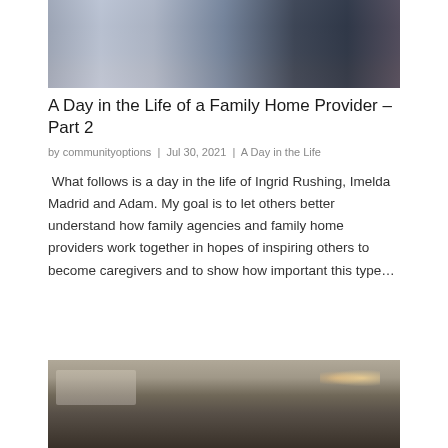[Figure (photo): Partial photo of people in a kitchen, cropped at top]
A Day in the Life of a Family Home Provider – Part 2
by communityoptions  |  Jul 30, 2021  |  A Day in the Life
What follows is a day in the life of Ingrid Rushing, Imelda Madrid and Adam. My goal is to let others better understand how family agencies and family home providers work together in hopes of inspiring others to become caregivers and to show how important this type…
[Figure (photo): Partial photo of kitchen interior with recessed lighting, cropped at bottom]